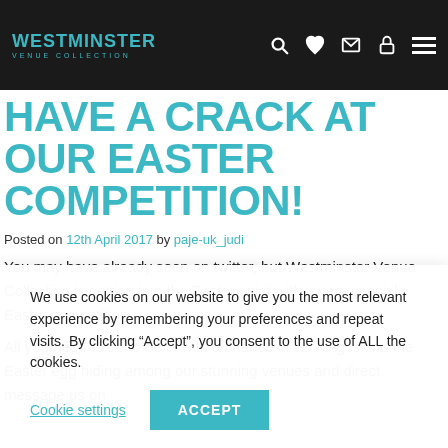WESTMINSTER VENUE COLLECTION
HAVE A CRACK AT OUR EASTER COMPETITION!
Posted on 12th April 2017 by paje-uk_judi
You may have already seen on twitter, but Westminster Venue Collection is getting into the Easter spirit with a very special Easter competition.
All you need to do to be in with a chance of winning is find the Easter egg hiding among our stunning venues and direct message us on
We use cookies on our website to give you the most relevant experience by remembering your preferences and repeat visits. By clicking “Accept”, you consent to the use of ALL the cookies.
Cookie settings | ACCEPT